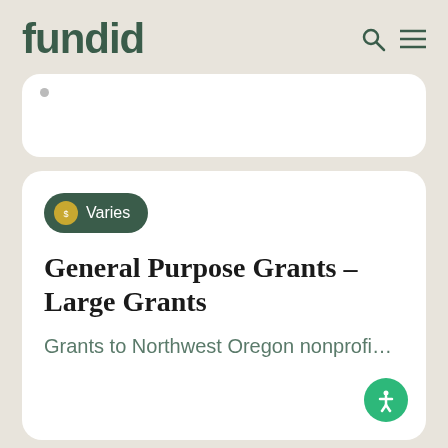fundid
Varies
General Purpose Grants - Large Grants
Grants to Northwest Oregon nonprofi...